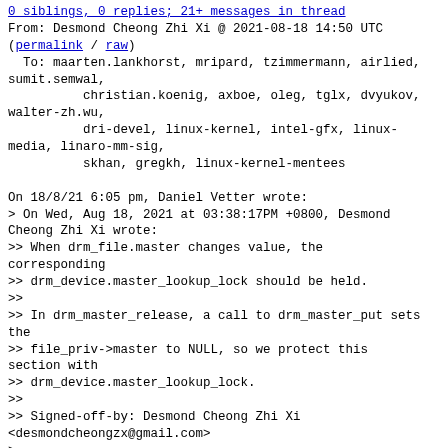0 siblings, 0 replies; 21+ messages in thread
From: Desmond Cheong Zhi Xi @ 2021-08-18 14:50 UTC
(permalink / raw)
  To: maarten.lankhorst, mripard, tzimmermann, airlied, sumit.semwal,
          christian.koenig, axboe, oleg, tglx, dvyukov, walter-zh.wu,
          dri-devel, linux-kernel, intel-gfx, linux-media, linaro-mm-sig,
          skhan, gregkh, linux-kernel-mentees

On 18/8/21 6:05 pm, Daniel Vetter wrote:
> On Wed, Aug 18, 2021 at 03:38:17PM +0800, Desmond Cheong Zhi Xi wrote:
>> When drm_file.master changes value, the corresponding
>> drm_device.master_lookup_lock should be held.
>>
>> In drm_master_release, a call to drm_master_put sets the
>> file_priv->master to NULL, so we protect this section with
>> drm_device.master_lookup_lock.
>>
>> Signed-off-by: Desmond Cheong Zhi Xi <desmondcheongzx@gmail.com>
>
> At this points all refcounts to drm_file have disappeared, so yeah this is
> a lockless access, but also no one can observe it anymore. See also next.